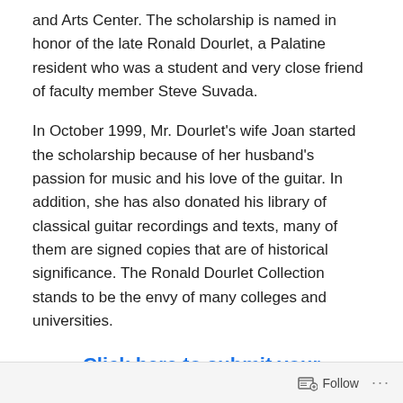and Arts Center. The scholarship is named in honor of the late Ronald Dourlet, a Palatine resident who was a student and very close friend of faculty member Steve Suvada.
In October 1999, Mr. Dourlet’s wife Joan started the scholarship because of her husband’s passion for music and his love of the guitar. In addition, she has also donated his library of classical guitar recordings and texts, many of them are signed copies that are of historical significance. The Ronald Dourlet Collection stands to be the envy of many colleges and universities.
Click here to submit your application.
Eligibility
Follow